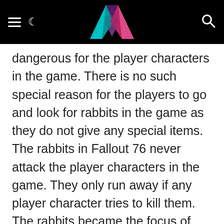Website header with logo, hamburger menu, moon icon, and search icon
dangerous for the player characters in the game. There is no such special reason for the players to go and look for rabbits in the game as they do not give any special items. The rabbits in Fallout 76 never attack the player characters in the game. They only run away if any player character tries to kill them. The rabbits became the focus of many player characters as the rabbits are a part of a very interesting daily mission which is known as The Hoppy Hunter Challenge.